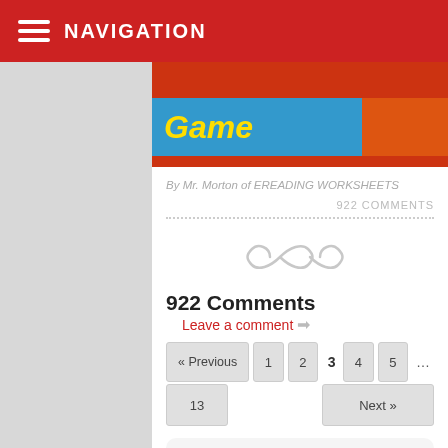NAVIGATION
[Figure (screenshot): Banner image with 'Game' text on blue background, red/orange background, decorative illustration on right]
By Mr. Morton of EREADING WORKSHEETS
922 COMMENTS
[Figure (illustration): Decorative infinity/swirl symbol in light gray]
922 Comments
Leave a comment →
« Previous  1  2  3  4  5  ...  13  Next »
Jane / February 3, 2014